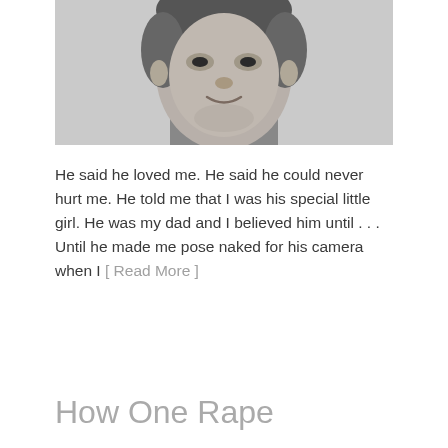[Figure (photo): Black and white portrait photo of a young boy, cropped at shoulders, smiling slightly, vintage style photograph]
He said he loved me. He said he could never hurt me. He told me that I was his special little girl. He was my dad and I believed him until . . . Until he made me pose naked for his camera when I [ Read More ]
How One Rape